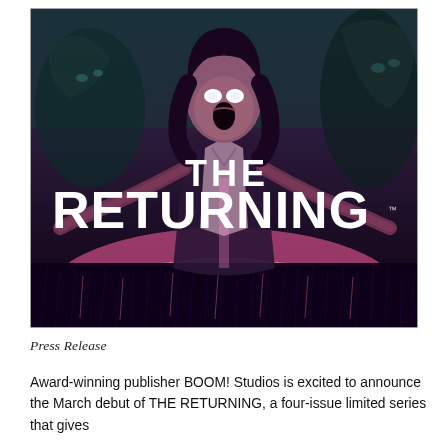[Figure (illustration): Comic book cover art for 'THE RETURNING' — a horror-themed illustration showing a woman with white glowing eyes screaming, arms outstretched, standing in a glowing pink/red field with dark monstrous figures in the background. Large white bold text reads 'THE RETURNING' with a trademark symbol.]
Press Release
Award-winning publisher BOOM! Studios is excited to announce the March debut of THE RETURNING, a four-issue limited series that gives